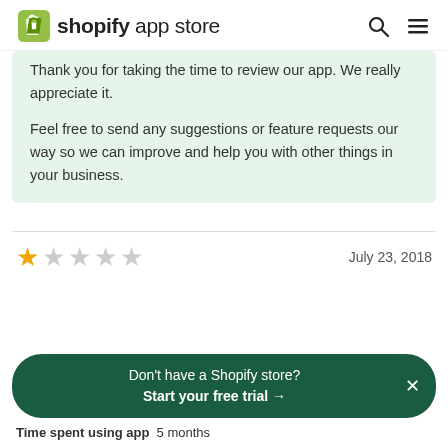shopify app store
Thank you for taking the time to review our app. We really appreciate it.

Feel free to send any suggestions or feature requests our way so we can improve and help you with other things in your business.
★☆☆☆☆  July 23, 2018
Time spent using app  5 months
Don't have a Shopify store?  Start your free trial →